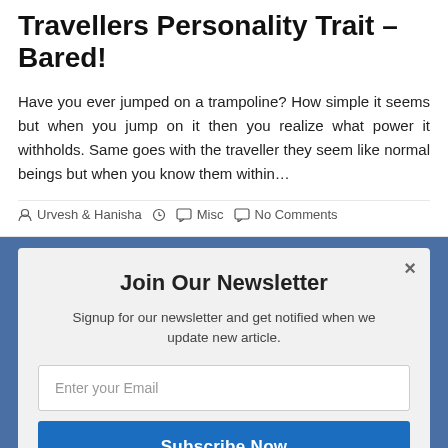Travellers Personality Trait – Bared!
Have you ever jumped on a trampoline? How simple it seems but when you jump on it then you realize what power it withholds. Same goes with the traveller they seem like normal beings but when you know them within…
Urvesh & Hanisha   Misc   No Comments
Join Our Newsletter
Signup for our newsletter and get notified when we update new article.
Enter your Email
Subscribe Now